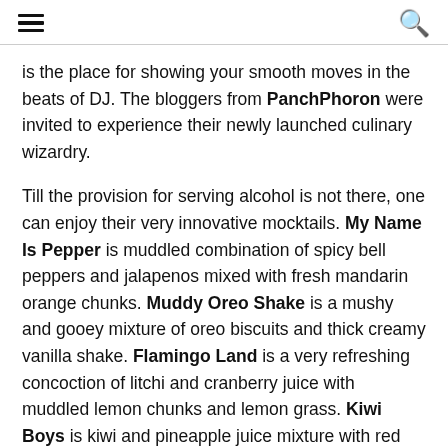[hamburger menu icon] [search icon]
is the place for showing your smooth moves in the beats of DJ. The bloggers from PanchPhoron were invited to experience their newly launched culinary wizardry.
Till the provision for serving alcohol is not there, one can enjoy their very innovative mocktails. My Name Is Pepper is muddled combination of spicy bell peppers and jalapenos mixed with fresh mandarin orange chunks. Muddy Oreo Shake is a mushy and gooey mixture of oreo biscuits and thick creamy vanilla shake. Flamingo Land is a very refreshing concoction of litchi and cranberry juice with muddled lemon chunks and lemon grass. Kiwi Boys is kiwi and pineapple juice mixture with red bull top up.